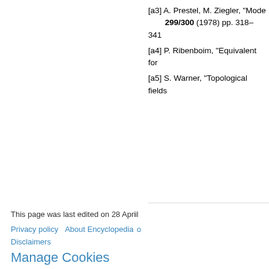[a3] A. Prestel, M. Ziegler, "Model... 299/300 (1978) pp. 318–341
[a4] P. Ribenboim, "Equivalent fo...
[a5] S. Warner, "Topological fields...
Henselian. Encyclopedia of Mat...
This article was adapted from an orig...
Category:  TeX done
This page was last edited on 28 April
Privacy policy   About Encyclopedia o...
Disclaimers
Manage Cookies